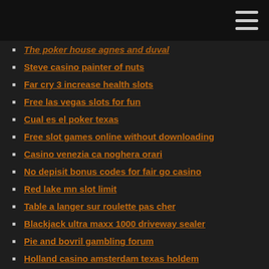The poker house agnes and duval
Steve casino painter of nuts
Far cry 3 increase health slots
Free las vegas slots for fun
Cual es el poker texas
Free slot games online without downloading
Casino venezia ca noghera orari
No depisit bonus codes for fair go casino
Red lake mn slot limit
Table a langer sur roulette pas cher
Blackjack ultra maxx 1000 driveway sealer
Pie and bovril gambling forum
Holland casino amsterdam texas holdem
What kind of player are you